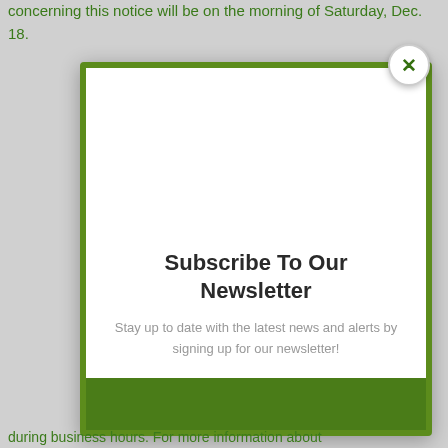concerning this notice will be on the morning of Saturday, Dec. 18.
[Figure (screenshot): Newsletter subscription modal popup with green border, white interior, title 'Subscribe To Our Newsletter', subtitle text, green footer bar, and a close (X) button in top-right corner.]
Subscribe To Our Newsletter
Stay up to date with the latest news and alerts by signing up for our newsletter!
during business hours. For more information about